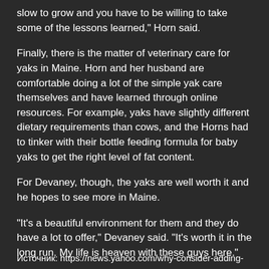slow to grow and you have to be willing to take some of the lessons learned," Horn said.
Finally, there is the matter of veterinary care for yaks in Maine. Horn and her husband are comfortable doing a lot of the simple yak care themselves and have learned through online resources. For example, yaks have slightly different dietary requirements than cows, and the Horns had to tinker with their bottle feeding formula for baby yaks to get the right level of fat content.
For Devaney, though, the yaks are well worth it and he hopes to see more in Maine.
"It's a beautiful environment for them and they do have a lot to offer," Devaney said. "It's worth it in the long run. My life is heaven with these guys here."
Источник: https://news.yahoo.com/why-consider-adding-